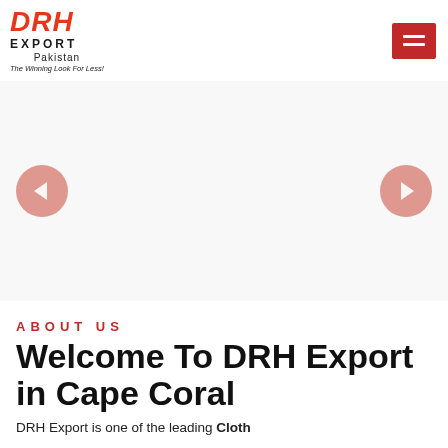[Figure (logo): DRH Export Pakistan logo — red italic DRH letters, EXPORT in black bold uppercase, Pakistan text, tagline 'The Winning Look For Less!']
[Figure (other): Red hamburger menu button in upper right corner with three white horizontal lines]
[Figure (other): White slider/carousel area with left and right navigation arrow buttons as pink/salmon circles]
ABOUT US
Welcome To DRH Export in Cape Coral
DRH Export is one of the leading Cloth